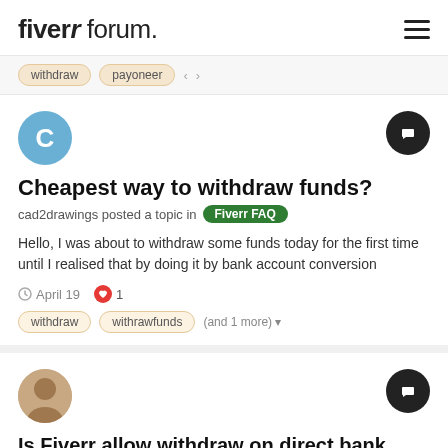fiverr forum.
withdraw  payoneer
Cheapest way to withdraw funds?
cad2drawings posted a topic in Fiverr FAQ
Hello, I was about to withdraw some funds today for the first time until I realised that by doing it by bank account conversion
April 19  1
withdraw  withrawfunds  (and 1 more)
Is Fiverr allow withdraw on direct bank